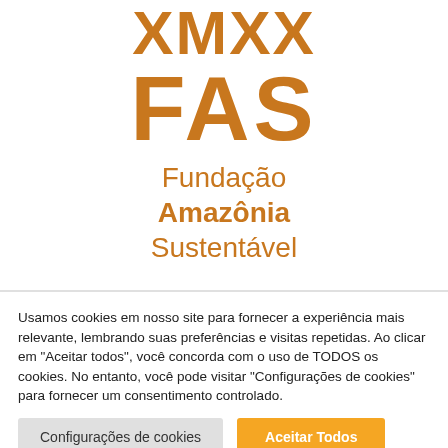[Figure (logo): FAS - Fundação Amazônia Sustentável logo with stylized text XMXX above FAS in orange, followed by subtitle text]
Usamos cookies em nosso site para fornecer a experiência mais relevante, lembrando suas preferências e visitas repetidas. Ao clicar em "Aceitar todos", você concorda com o uso de TODOS os cookies. No entanto, você pode visitar "Configurações de cookies" para fornecer um consentimento controlado.
Configurações de cookies
Aceitar Todos